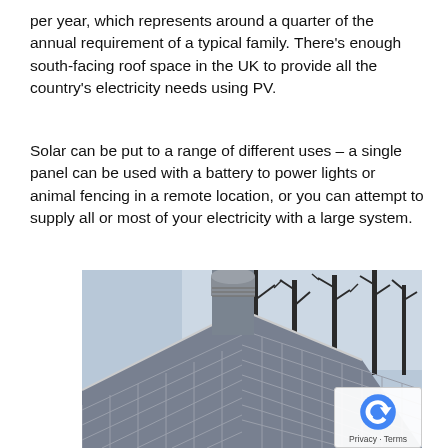per year, which represents around a quarter of the annual requirement of a typical family. There's enough south-facing roof space in the UK to provide all the country's electricity needs using PV.
Solar can be put to a range of different uses – a single panel can be used with a battery to power lights or animal fencing in a remote location, or you can attempt to supply all or most of your electricity with a large system.
[Figure (photo): Photograph of a roof covered with solar PV tiles/panels, with a cylindrical chimney top visible and bare winter trees in the background against an overcast sky. A reCAPTCHA badge overlay appears in the bottom right corner.]